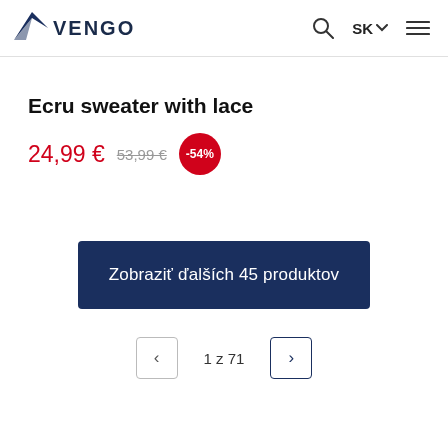VENGO — SK
Ecru sweater with lace
24,99 €  53,99 €  -54%
Zobraziť ďalších 45 produktov
1 z 71